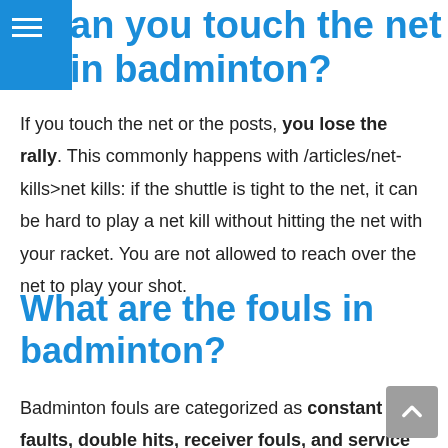Can you touch the net in badminton?
If you touch the net or the posts, you lose the rally. This commonly happens with /articles/net-kills>net kills: if the shuttle is tight to the net, it can be hard to play a net kill without hitting the net with your racket. You are not allowed to reach over the net to play your shot.
What are the fouls in badminton?
Badminton fouls are categorized as constant faults, double hits, receiver fouls, and service